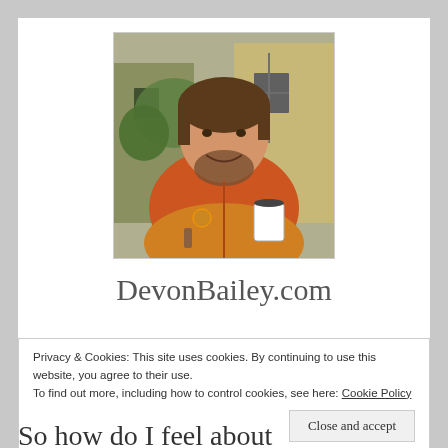[Figure (photo): Photo of a smiling man with beard and brown hair, wearing an orange hoodie, holding a coffee cup, outdoors in front of a building with greenery]
DevonBailey.com
Privacy & Cookies: This site uses cookies. By continuing to use this website, you agree to their use.
To find out more, including how to control cookies, see here: Cookie Policy
Close and accept
So how do I feel about